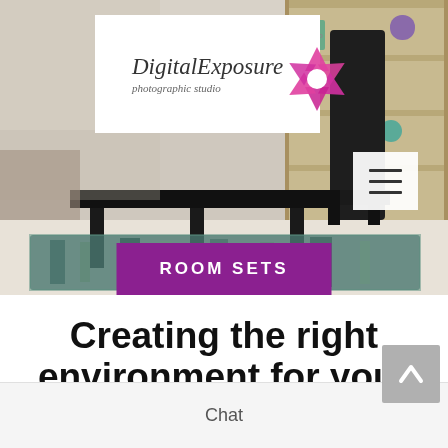[Figure (photo): Hero photo of a modern room set with dark furniture, patterned teal rug, wooden shelving unit, on a light floor. Overlaid with DigitalExposure photographic studio logo (top center-left) and hamburger menu icon (right side). Purple 'ROOM SETS' banner at bottom of image.]
Creating the right environment for your products
Chat